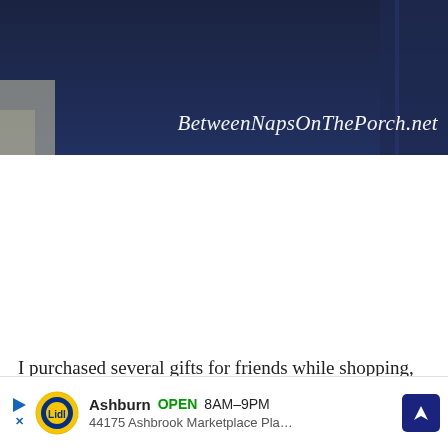[Figure (photo): Photo of dark navy blue fabric/clothing against a light patterned background, with the watermark 'BetweenNapsOnThePorch.net' overlaid in white italic script at the bottom right.]
I purchased several gifts for friends while shopping, they have so…great stocking…Someth…
[Figure (infographic): Advertisement overlay: Lidl logo, 'Ashburn OPEN 8AM–9PM', '44175 Ashbrook Marketplace Pla…', with play/close buttons and a navigation arrow icon.]